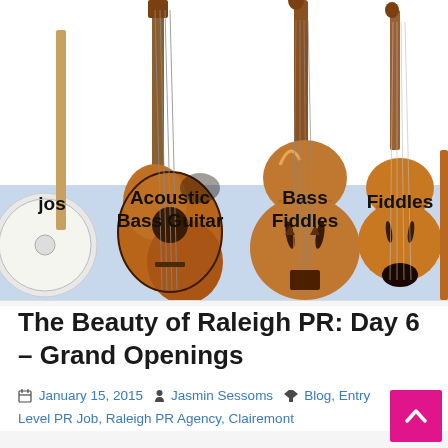[Figure (illustration): Illustration showing string instruments side by side on a light blue background: partial banjo on far left labeled 'jos', acoustic bass guitar labeled 'Acoustic Bass Guitar', upright bass labeled 'Bass Fiddles', and violin/fiddle labeled 'Fiddles', with another partially visible on the right edge.]
The Beauty of Raleigh PR: Day 6 – Grand Openings
January 15, 2015  Jasmin Sessoms  Blog, Entry Level PR Job, Raleigh PR Agency, Clairemont